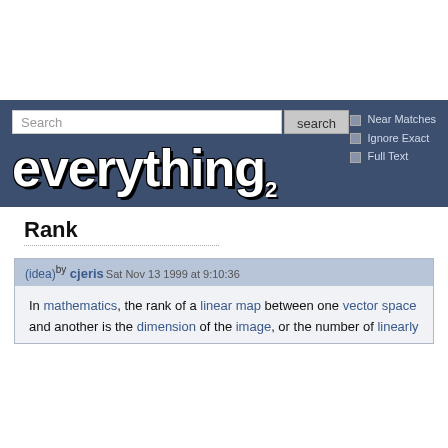[Figure (screenshot): Everything2 website header with search bar, checkboxes for Near Matches, Ignore Exact, Full Text, and the everything2 logo in white bold text on dark blue background]
Rank
(idea) by cjeris  Sat Nov 13 1999 at 9:10:36
In mathematics, the rank of a linear map between one vector space and another is the dimension of the image, or the number of linearly